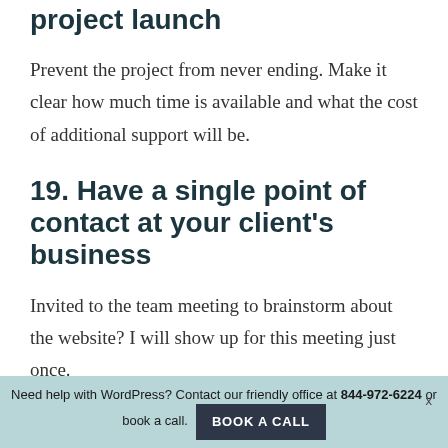project launch
Prevent the project from never ending. Make it clear how much time is available and what the cost of additional support will be.
19. Have a single point of contact at your client’s business
Invited to the team meeting to brainstorm about the website? I will show up for this meeting just once.
Need help with WordPress? Contact our friendly office at 844-972-6224 or book a call. BOOK A CALL